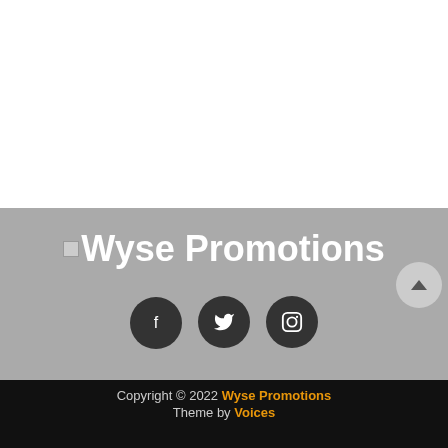[Figure (logo): Wyse Promotions logo with small image placeholder and bold white text on gray background]
[Figure (infographic): Three dark circular social media icons: Facebook (f), Twitter (bird), Instagram (camera outline)]
Copyright © 2022 Wyse Promotions
Theme by Voices